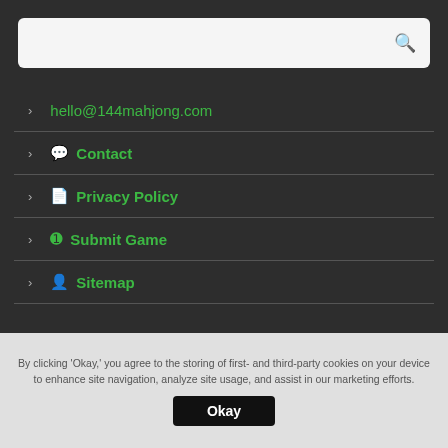[Figure (other): Search bar with magnifying glass icon on dark background]
hello@144mahjong.com
Contact
Privacy Policy
Submit Game
Sitemap
© 2022 144mahjong.com
❤ Play Best Free Full Screen Mahjong Games Online.
By clicking 'Okay,' you agree to the storing of first- and third-party cookies on your device to enhance site navigation, analyze site usage, and assist in our marketing efforts.